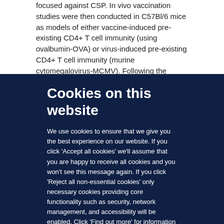focused against CSP. In vivo vaccination studies were then conducted in C57Bl/6 mice as models of either vaccine-induced pre-existing CD4+ T cell immunity (using ovalbumin-OVA) or virus-induced pre-existing CD4+ T cell immunity (murine cytomegalovirus-MCMV). Following the establishment of pre-existing by vaccination (OVA in the adjuvant TiterMax® Gold) or infection with MCMV, mice were administered CSP
Cookies on this website
We use cookies to ensure that we give you the best experience on our website. If you click 'Accept all cookies' we'll assume that you are happy to receive all cookies and you won't see this message again. If you click 'Reject all non-essential cookies' only necessary cookies providing core functionality such as security, network management, and accessibility will be enabled. Click 'Find out more' for information on how to change your cookie settings.